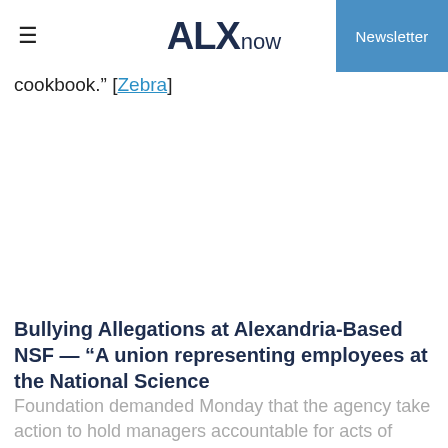ALXnow | Newsletter
cookbook." [Zebra]
Bullying Allegations at Alexandria-Based NSF — “A union representing employees at the National Science
Foundation demanded Monday that the agency take action to hold managers accountable for acts of